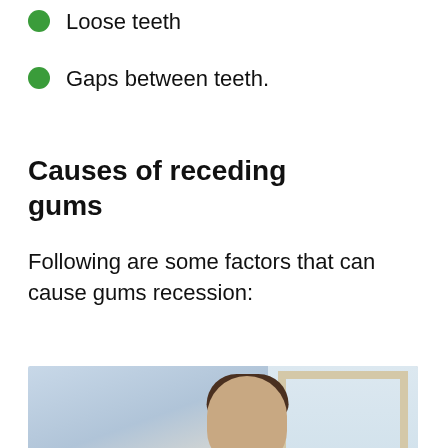Loose teeth
Gaps between teeth.
Causes of receding gums
Following are some factors that can cause gums recession:
[Figure (photo): A man brushing his teeth with a toothbrush, photographed in a bathroom setting with a window in the background.]